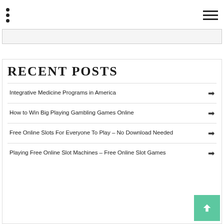navigation header with dots menu and hamburger icon
RECENT POSTS
Integrative Medicine Programs in America
How to Win Big Playing Gambling Games Online
Free Online Slots For Everyone To Play – No Download Needed
Playing Free Online Slot Machines – Free Online Slot Games